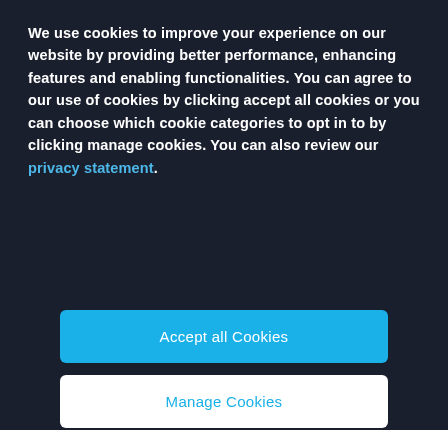We use cookies to improve your experience on our website by providing better performance, enhancing features and enabling functionalities. You can agree to our use of cookies by clicking accept all cookies or you can choose which cookie categories to opt in to by clicking manage cookies. You can also review our privacy statement.
Accept all Cookies
Manage Cookies
individual design options in the interior simply cannot fail to impress.
[Figure (photo): Three car photos side by side: dark interior shot on left, blue SUV in mountain landscape in center, partial car image on right. A cyan plus button overlays the bottom right.]